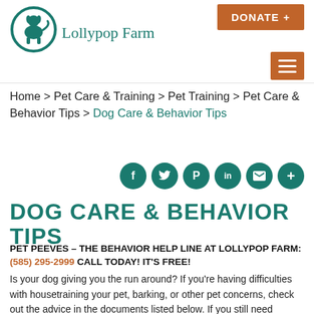[Figure (logo): Lollypop Farm logo: teal circle with a dog silhouette and text 'Lollypop Farm' in teal serif font]
DONATE +
[Figure (other): Orange hamburger menu button with three white horizontal lines]
Home > Pet Care & Training > Pet Training > Pet Care & Behavior Tips > Dog Care & Behavior Tips
[Figure (other): Row of teal circular social media icons: Facebook (f), Twitter (bird), Pinterest (P), LinkedIn (in), Email (envelope), More (+)]
DOG CARE & BEHAVIOR TIPS
PET PEEVES – THE BEHAVIOR HELP LINE AT LOLLYPOP FARM: (585) 295-2999 CALL TODAY! IT'S FREE!
Is your dog giving you the run around? If you're having difficulties with housetraining your pet, barking, or other pet concerns, check out the advice in the documents listed below. If you still need assistance with your dog after reading our information,